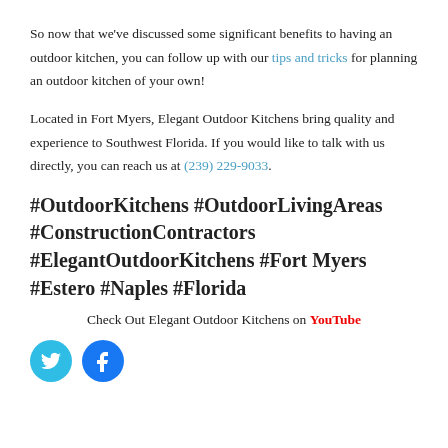So now that we've discussed some significant benefits to having an outdoor kitchen, you can follow up with our tips and tricks for planning an outdoor kitchen of your own!
Located in Fort Myers, Elegant Outdoor Kitchens bring quality and experience to Southwest Florida. If you would like to talk with us directly, you can reach us at (239) 229-9033.
#OutdoorKitchens #OutdoorLivingAreas #ConstructionContractors #ElegantOutdoorKitchens #Fort Myers #Estero #Naples #Florida
Check Out Elegant Outdoor Kitchens on YouTube
[Figure (illustration): Two social media icon circles: Twitter (cyan) and Facebook (blue)]